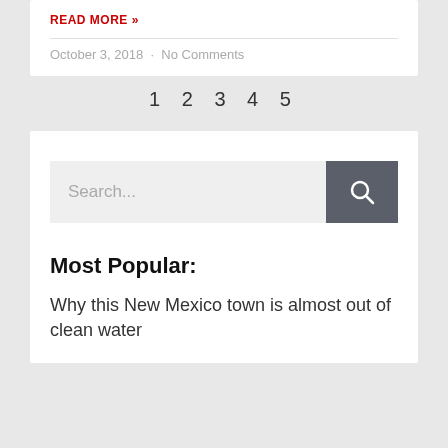READ MORE »
October 3, 2018  ·  No Comments
1 2 3 4 5
Search...
Most Popular:
Why this New Mexico town is almost out of clean water